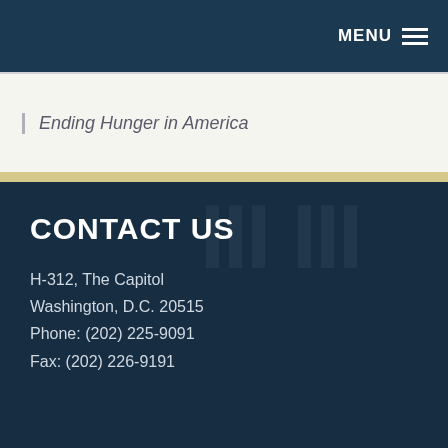MENU
Ending Hunger in America
CONTACT US
H-312, The Capitol
Washington, D.C. 20515
Phone: (202) 225-9091
Fax: (202) 226-9191